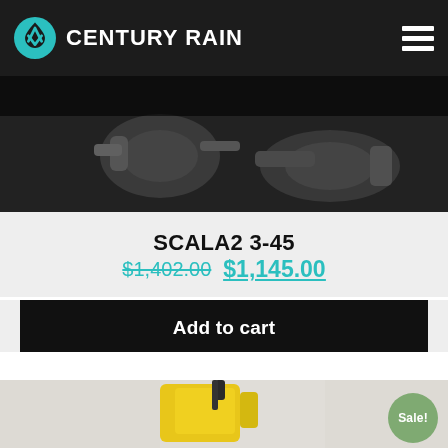CENTURY RAIN
[Figure (photo): Close-up photo of dark mechanical pump parts/connectors on dark background]
SCALA2 3-45
$1,402.00 $1,145.00
Add to cart
[Figure (photo): Yellow submersible pump on light background with Sale! badge]